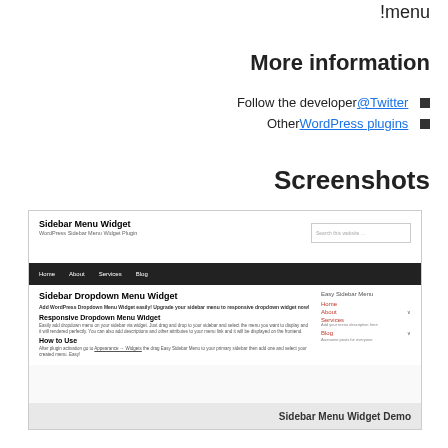!menu
More information
Follow the developer @Twitter
Other WordPress plugins
Screenshots
[Figure (screenshot): Screenshot of a WordPress Sidebar Menu Widget plugin demo page showing a website with navigation bar (Home, About, Services, Blog), a sidebar dropdown menu with Easy Sidebar Menu items, and content about the Sidebar Dropdown Menu Widget.]
Sidebar Menu Widget Demo